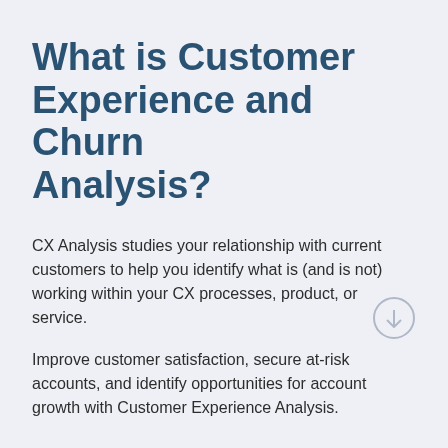What is Customer Experience and Churn Analysis?
CX Analysis studies your relationship with current customers to help you identify what is (and is not) working within your CX processes, product, or service.
Improve customer satisfaction, secure at-risk accounts, and identify opportunities for account growth with Customer Experience Analysis.